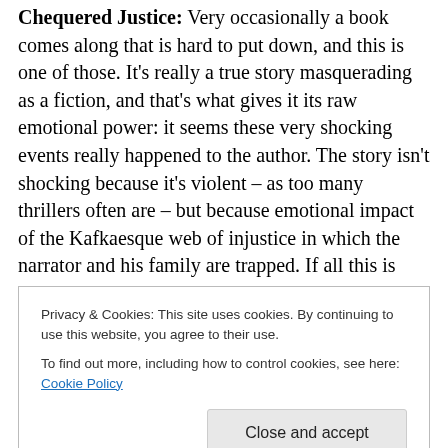Chequered Justice: Very occasionally a book comes along that is hard to put down, and this is one of those. It's really a true story masquerading as a fiction, and that's what gives it its raw emotional power: it seems these very shocking events really happened to the author. The story isn't shocking because it's violent – as too many thrillers often are – but because emotional impact of the Kafkaesque web of injustice in which the narrator and his family are trapped. If all this is true – as it appears to be – it's very scarey, much more so than if it was just imagined. The story is compulsive for the simple, obvious reason you
Privacy & Cookies: This site uses cookies. By continuing to use this website, you agree to their use.
To find out more, including how to control cookies, see here: Cookie Policy
Close and accept
By T. Vicary "Tim Vicary"